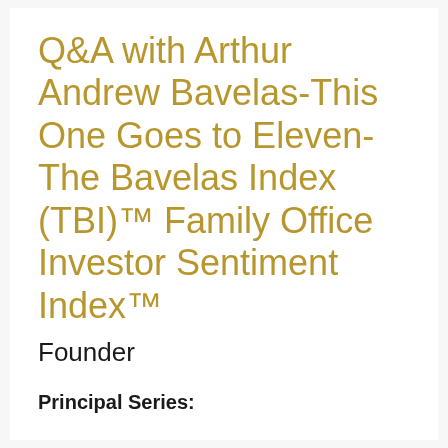Q&A with Arthur Andrew Bavelas-This One Goes to Eleven-The Bavelas Index (TBI)™ Family Office Investor Sentiment Index™
Founder
Principal Series: